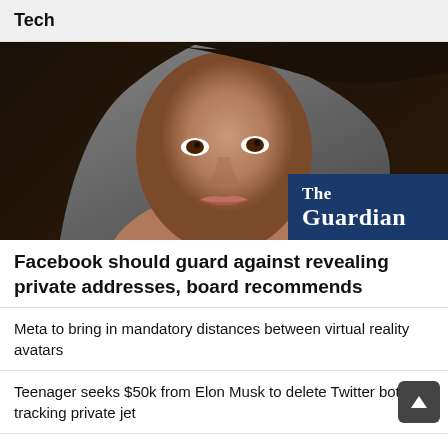Tech
[Figure (photo): Close-up photo of a dark-haired woman smiling, with The Guardian logo overlaid in the bottom-right corner on a dark blue background.]
Facebook should guard against revealing private addresses, board recommends
Meta to bring in mandatory distances between virtual reality avatars
Teenager seeks $50k from Elon Musk to delete Twitter bot tracking private jet
What your smart TV knows about you – and how to stop it